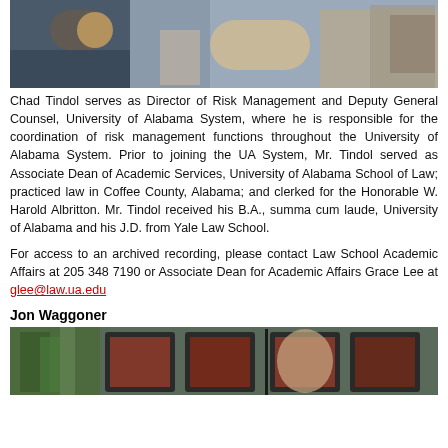[Figure (photo): Photo of Chad Tindol seated, with bookshelves and decorative items visible in background]
Chad Tindol serves as Director of Risk Management and Deputy General Counsel, University of Alabama System, where he is responsible for the coordination of risk management functions throughout the University of Alabama System. Prior to joining the UA System, Mr. Tindol served as Associate Dean of Academic Services, University of Alabama School of Law; practiced law in Coffee County, Alabama; and clerked for the Honorable W. Harold Albritton. Mr. Tindol received his B.A., summa cum laude, University of Alabama and his J.D. from Yale Law School.
For access to an archived recording, please contact Law School Academic Affairs at 205 348 7190 or Associate Dean for Academic Affairs Grace Lee at glee@law.ua.edu
Jon Waggoner
[Figure (photo): Photo of Jon Waggoner with framed pictures visible in background]